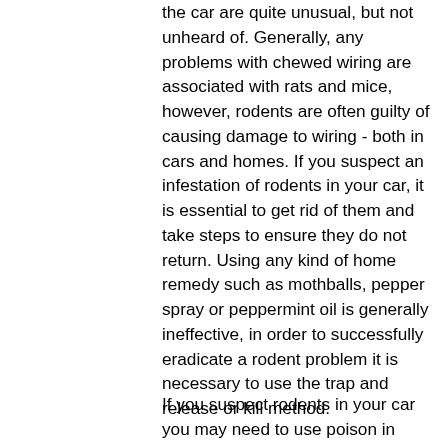the car are quite unusual, but not unheard of. Generally, any problems with chewed wiring are associated with rats and mice, however, rodents are often guilty of causing damage to wiring - both in cars and homes. If you suspect an infestation of rodents in your car, it is essential to get rid of them and take steps to ensure they do not return. Using any kind of home remedy such as mothballs, pepper spray or peppermint oil is generally ineffective, in order to successfully eradicate a rodent problem it is necessary to use the trap and release or kill method.
If you suspect rodents in your car you may need to use poison in your trap in order to ensure complete eradication - obviously great care should be taken if you have children or domestic pets. Using a bait box is quite straightforward and your usual pest control service should be able to provide you with the correct equipment. You should also take steps to rodent proof your vehicle by fastening chicken wire across the